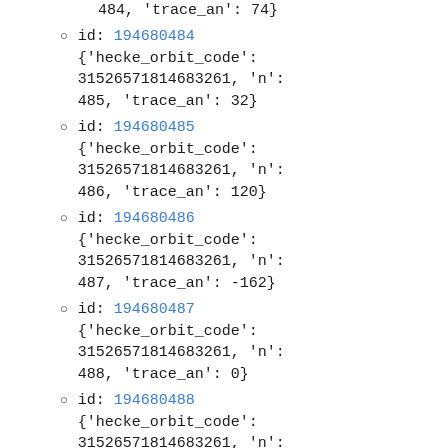484, 'trace_an': 74}
id: 194680484
{'hecke_orbit_code': 31526571814683261, 'n': 485, 'trace_an': 32}
id: 194680485
{'hecke_orbit_code': 31526571814683261, 'n': 486, 'trace_an': 120}
id: 194680486
{'hecke_orbit_code': 31526571814683261, 'n': 487, 'trace_an': -162}
id: 194680487
{'hecke_orbit_code': 31526571814683261, 'n': 488, 'trace_an': 0}
id: 194680488
{'hecke_orbit_code': 31526571814683261, 'n':